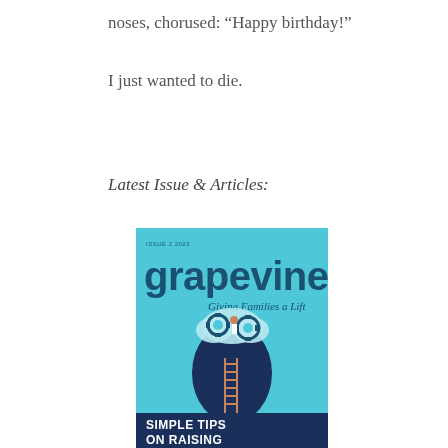noses, chorused: “Happy birthday!”
I just wanted to die.
Latest Issue & Articles:
[Figure (illustration): Cover of Grapevine magazine, Issue 2 2022. Large teal/cyan background with the word 'grapevine' in large dark teal lowercase letters. Subtitle 'Giving Families a Lift' in italic. Illustration of a dark navy blue silhouette of a human head in profile with the top open, showing a cloud of gears inside. A small figure climbs a ladder into the head. Bottom banner is dark navy with white bold text 'SIMPLE TIPS ON RAISING']